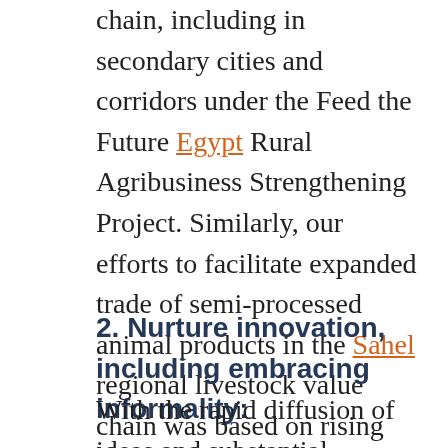chain, including in secondary cities and corridors under the Feed the Future Egypt Rural Agribusiness Strengthening Project. Similarly, our efforts to facilitate expanded trade of semi-processed animal products in the Sahel regional livestock value chain was based on rising incomes in bigger urban and coastal markets, which generated sophisticated demand for higher-quality meats.
2. Nurture innovation, including embracing informality:
With the rapid diffusion of ideas and substantial numbers of entrepreneurial, tech-